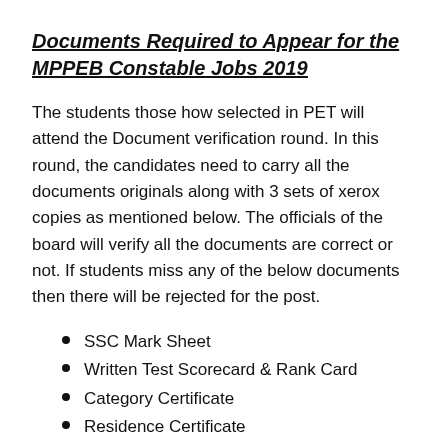Documents Required to Appear for the MPPEB Constable Jobs 2019
The students those how selected in PET will attend the Document verification round. In this round, the candidates need to carry all the documents originals along with 3 sets of xerox copies as mentioned below. The officials of the board will verify all the documents are correct or not. If students miss any of the below documents then there will be rejected for the post.
SSC Mark Sheet
Written Test Scorecard & Rank Card
Category Certificate
Residence Certificate
Identity Proof( Adhaar Card/ PAN Card/